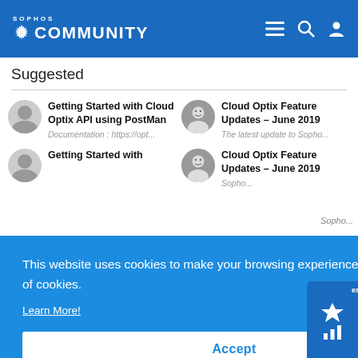SOPHOS COMMUNITY
Suggested
Getting Started with Cloud Optix API using PostMan
Documentation : https://opt...
Cloud Optix Feature Updates – June 2019
The latest update to Sopho...
Getting Started with
Cloud Optix Feature Updates – June 2019
Sopho...
This website uses cookies to make your browsing experience better. By using our site you agree to our use of cookies.
Learn More!
Accept